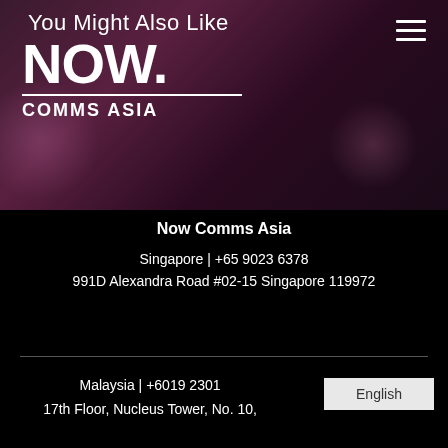[Figure (logo): NOW. COMMS ASIA logo in white on dark purple bokeh background, with 'You Might Also Like' text overlay and hamburger menu icon]
Now Comms Asia
Singapore | +65 9023 6378
991D Alexandra Road #02-15 Singapore 119972
Malaysia | +6019 2301
17th Floor, Nucleus Tower, No. 10,
English